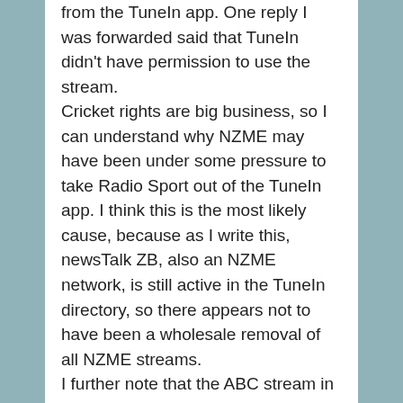from the TuneIn app. One reply I was forwarded said that TuneIn didn't have permission to use the stream. Cricket rights are big business, so I can understand why NZME may have been under some pressure to take Radio Sport out of the TuneIn app. I think this is the most likely cause, because as I write this, newsTalk ZB, also an NZME network, is still active in the TuneIn directory, so there appears not to have been a wholesale removal of all NZME streams. I further note that the ABC stream in Australia, when they carry cricket, was removed from TuneIn some time ago. While I appreciate that TuneIn is by far the largest of these radio stream aggregators, it is not the